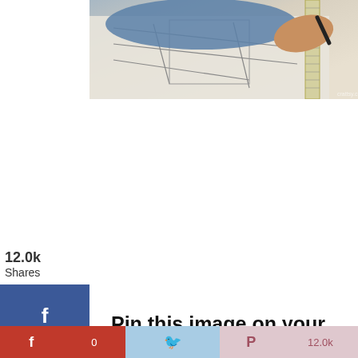[Figure (photo): Person drawing sewing pattern lines on paper with a ruler and marker, viewed from above]
12.0k
Shares
[Figure (infographic): Social share sidebar with Facebook (0), Twitter, and Pinterest (12.0k) buttons]
Pin this image on your sewing
board for future reference.
[Figure (infographic): Bottom share bar with Facebook, Twitter (0), Pinterest (12.0k) icons]